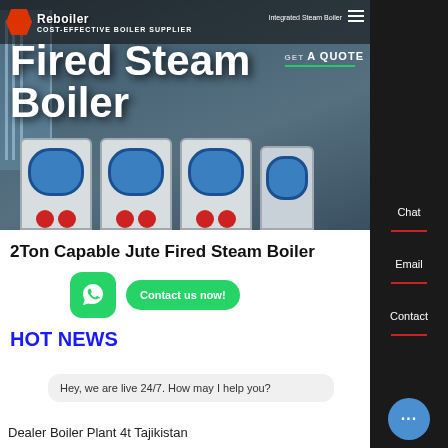[Figure (screenshot): Hero banner showing industrial boiler units (Fired Steam Boiler) with the Reboiler brand header. Background shows multiple white/blue boiler units. Header contains logo, brand name 'COST-EFFECTIVE BOILER SUPPLIER', navigation text including 'Integrated Steam Boiler' and 'GET A QUOTE'.]
Fired Steam Boiler
2Ton Capable Jute Fired Steam Boiler
HOT NEWS
Hey, we are live 24/7. How may I help you?
Dealer Boiler Plant 4t Tajikistan